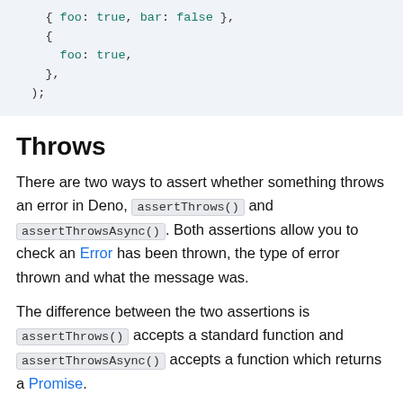[Figure (other): Code block showing JavaScript object literal with foo: true, bar: false and nested object with foo: true, inside a closing );]
Throws
There are two ways to assert whether something throws an error in Deno, assertThrows() and assertThrowsAsync(). Both assertions allow you to check an Error has been thrown, the type of error thrown and what the message was.
The difference between the two assertions is assertThrows() accepts a standard function and assertThrowsAsync() accepts a function which returns a Promise.
The assertThrows() assertion will check an error has